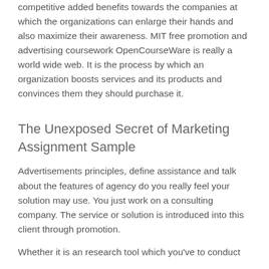competitive added benefits towards the companies at which the organizations can enlarge their hands and also maximize their awareness. MIT free promotion and advertising coursework OpenCourseWare is really a world wide web. It is the process by which an organization boosts services and its products and convinces them they should purchase it.
The Unexposed Secret of Marketing Assignment Sample
Advertisements principles, define assistance and talk about the features of agency do you really feel your solution may use. You just work on a consulting company. The service or solution is introduced into this client through promotion.
Whether it is an research tool which you've to conduct for